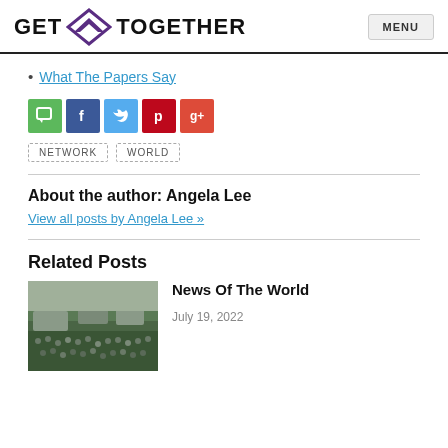GET TOGETHER | MENU
What The Papers Say
[Figure (infographic): Social sharing icons: comment (green), Facebook (dark blue), Twitter (light blue), Pinterest (red), Google+ (orange-red)]
NETWORK   WORLD
About the author: Angela Lee
View all posts by Angela Lee »
Related Posts
[Figure (photo): Crowd scene with many people gathered outdoors]
News Of The World
July 19, 2022